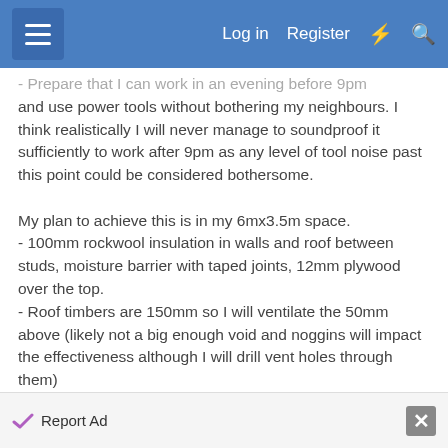Log in  Register
and use power tools without bothering my neighbours. I think realistically I will never manage to soundproof it sufficiently to work after 9pm as any level of tool noise past this point could be considered bothersome.

My plan to achieve this is in my 6mx3.5m space.
- 100mm rockwool insulation in walls and roof between studs, moisture barrier with taped joints, 12mm plywood over the top.
- Roof timbers are 150mm so I will ventilate the 50mm above (likely not a big enough void and noggins will impact the effectiveness although I will drill vent holes through them)
- Stud walls are 100x50 with 11mm OSB on the
Report Ad